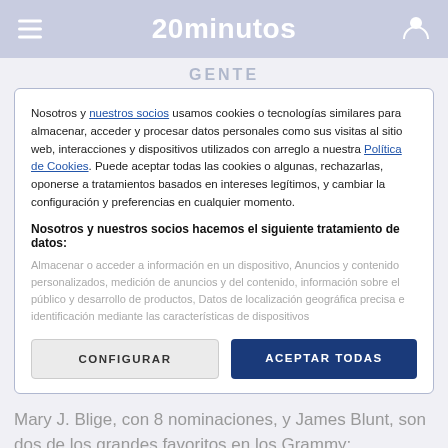20minutos
GENTE
Nosotros y nuestros socios usamos cookies o tecnologías similares para almacenar, acceder y procesar datos personales como sus visitas al sitio web, interacciones y dispositivos utilizados con arreglo a nuestra Política de Cookies. Puede aceptar todas las cookies o algunas, rechazarlas, oponerse a tratamientos basados en intereses legítimos, y cambiar la configuración y preferencias en cualquier momento.
Nosotros y nuestros socios hacemos el siguiente tratamiento de datos:
Almacenar o acceder a información en un dispositivo, Anuncios y contenido personalizados, medición de anuncios y del contenido, información sobre el público y desarrollo de productos, Datos de localización geográfica precisa e identificación mediante las características de dispositivos
CONFIGURAR
ACEPTAR TODAS
Mary J. Blige, con 8 nominaciones, y James Blunt, son dos de los grandes favoritos en los Grammy: